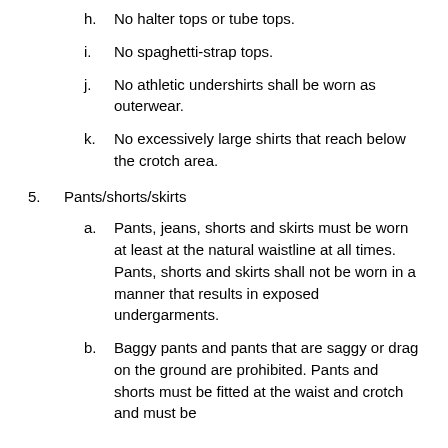h.   No halter tops or tube tops.
i.   No spaghetti-strap tops.
j.   No athletic undershirts shall be worn as outerwear.
k.   No excessively large shirts that reach below the crotch area.
5.   Pants/shorts/skirts
a.   Pants, jeans, shorts and skirts must be worn at least at the natural waistline at all times.  Pants, shorts and skirts shall not be worn in a manner that results in exposed undergarments.
b.   Baggy pants and pants that are saggy or drag on the ground are prohibited. Pants and shorts must be fitted at the waist and crotch and must be worn at the natural waist height and...